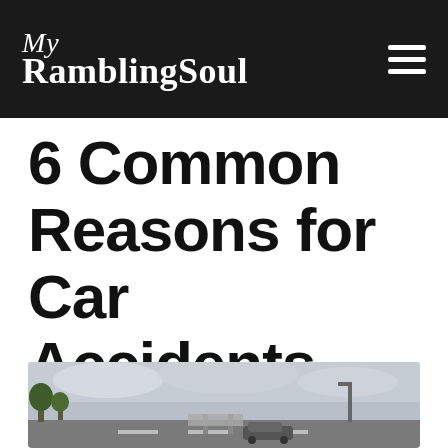My RamblingSoul
6 Common Reasons for Car Accidents
[Figure (photo): Road intersection photo showing a highway with street lights, trees, and a cloudy sky. A vehicle and road signs are visible.]